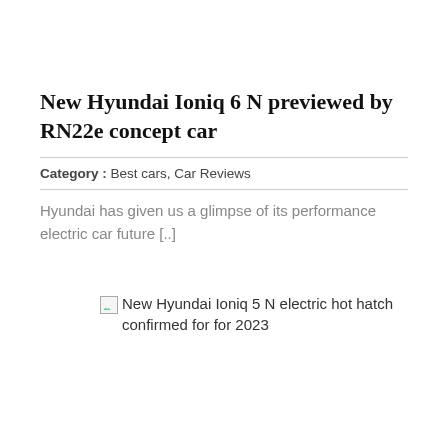New Hyundai Ioniq 6 N previewed by RN22e concept car
Category : Best cars, Car Reviews
Hyundai has given us a glimpse of its performance electric car future [..]
[Figure (other): Broken image placeholder for: New Hyundai Ioniq 5 N electric hot hatch confirmed for for 2023]